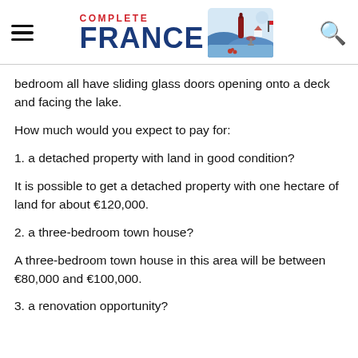Complete France
bedroom all have sliding glass doors opening onto a deck and facing the lake.
How much would you expect to pay for:
1. a detached property with land in good condition?
It is possible to get a detached property with one hectare of land for about €120,000.
2. a three-bedroom town house?
A three-bedroom town house in this area will be between €80,000 and €100,000.
3. a renovation opportunity?